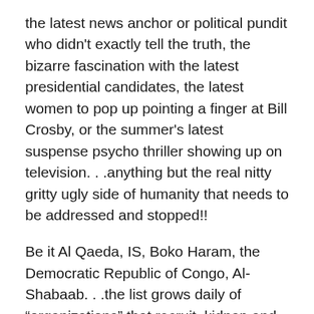the latest news anchor or political pundit who didn't exactly tell the truth, the bizarre fascination with the latest presidential candidates, the latest women to pop up pointing a finger at Bill Crosby, or the summer's latest suspense psycho thriller showing up on television. . .anything but the real nitty gritty ugly side of humanity that needs to be addressed and stopped!!
Be it Al Qaeda, IS, Boko Haram, the Democratic Republic of Congo, Al-Shabaab. . .the list grows daily of “organizations” that recruit, kidnap and steal children in order to enlist them into the dirty work created by woefully misguided and evil adults.
This doesn’t even touch on the skyrocketing statistics of the human slave trafficking of young girls, and yes young boys as well, for purposes of an explosivly growing global